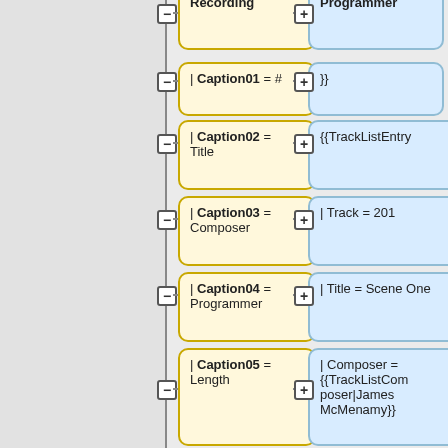[Figure (flowchart): A wiki template diff/comparison flowchart showing two columns of connected boxes. Left column contains yellow boxes with caption field names (Recording, Caption01=#, Caption02=Title, Caption03=Composer, Caption04=Programmer, Caption05=Length, Caption06=Listen). Right column contains blue boxes with template values (Programmer, }}, {{TrackListEntry, | Track = 201, | Title = Scene One, | Composer = {{TrackListComposer|James McMenamy}}, | Extra4 = [[Ralph Thomas]], | DurationMin = 2). Each row has minus and plus buttons on either side.]